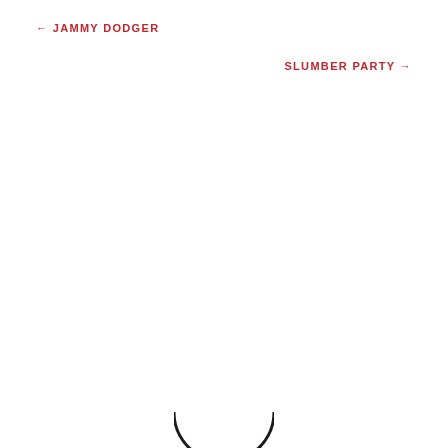← JAMMY DODGER
SLUMBER PARTY →
[Figure (illustration): Partial view of a dark circular shape visible at the bottom center of the page, likely the top of a circular logo or decorative element cropped at the page bottom.]